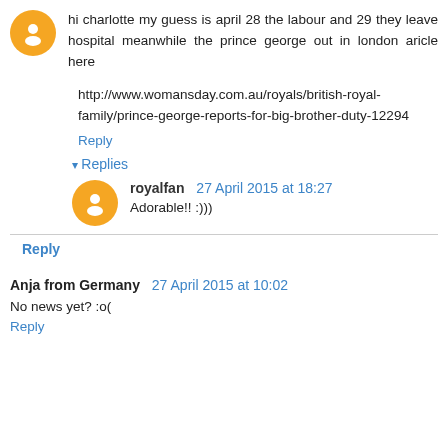hi charlotte my guess is april 28 the labour and 29 they leave hospital meanwhile the prince george out in london aricle here
http://www.womansday.com.au/royals/british-royal-family/prince-george-reports-for-big-brother-duty-12294
Reply
Replies
royalfan 27 April 2015 at 18:27
Adorable!! :)))
Reply
Anja from Germany 27 April 2015 at 10:02
No news yet? :o(
Reply